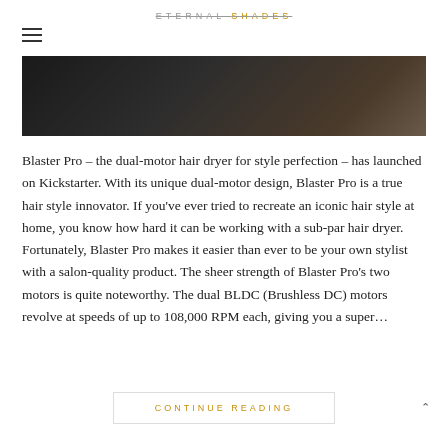ETERNAL SHADES
[Figure (photo): Partial photo of a dark-background product or hand holding an object, cropped at top]
Blaster Pro – the dual-motor hair dryer for style perfection – has launched on Kickstarter. With its unique dual-motor design, Blaster Pro is a true hair style innovator. If you've ever tried to recreate an iconic hair style at home, you know how hard it can be working with a sub-par hair dryer. Fortunately, Blaster Pro makes it easier than ever to be your own stylist with a salon-quality product. The sheer strength of Blaster Pro's two motors is quite noteworthy. The dual BLDC (Brushless DC) motors revolve at speeds of up to 108,000 RPM each, giving you a super…
CONTINUE READING